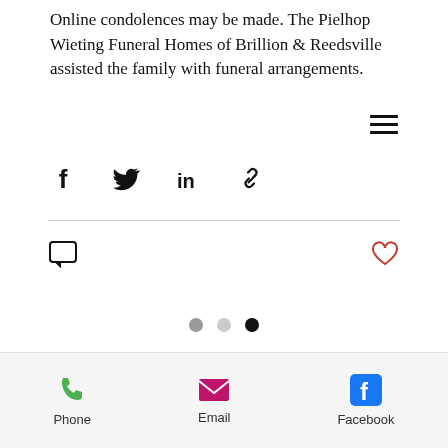Online condolences may be made. The Pielhop Wieting Funeral Homes of Brillion & Reedsville assisted the family with funeral arrangements.
[Figure (screenshot): Hamburger menu icon (three horizontal lines) in upper right area]
[Figure (screenshot): Social sharing icons: Facebook, Twitter, LinkedIn, and link/copy icons]
[Figure (screenshot): Comment icon on left and heart/like icon on right, interaction row below divider]
[Figure (screenshot): Three pagination dots: gray, light gray, dark/black]
[Figure (screenshot): Footer bar with Phone (green phone icon), Email (magenta envelope icon), Facebook (blue Facebook icon) contact options]